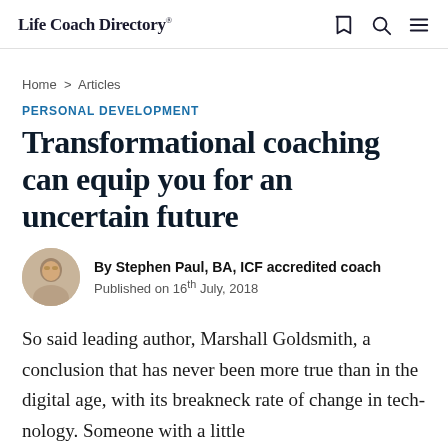Life Coach Directory
Home > Articles
PERSONAL DEVELOPMENT
Transformational coaching can equip you for an uncertain future
By Stephen Paul, BA, ICF accredited coach
Published on 16th July, 2018
[Figure (photo): Author headshot of Stephen Paul, a middle-aged man with short hair, circular crop]
So said leading author, Marshall Goldsmith, a conclusion that has never been more true than in the digital age, with its breakneck rate of change in technology. Someone with a little...